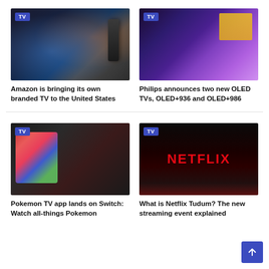[Figure (photo): Hand holding TV remote control in front of a TV screen with blurred content]
Amazon is bringing its own branded TV to the United States
[Figure (photo): Person watching a TV with purple/ambient backlight in a dark room]
Philips announces two new OLED TVs, OLED+936 and OLED+986
[Figure (photo): Person holding a Nintendo Switch showing Pokemon TV app]
Pokemon TV app lands on Switch: Watch all-things Pokemon
[Figure (photo): Dark room with Netflix logo displayed in red on a dark background]
What is Netflix Tudum? The new streaming event explained